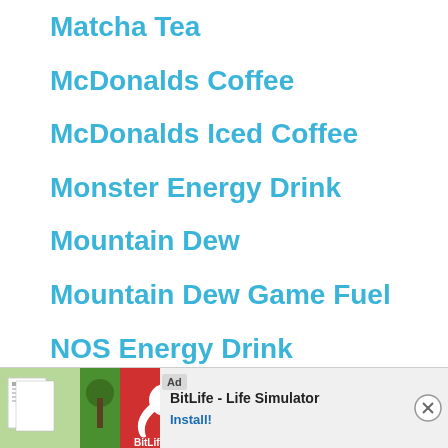Matcha Tea
McDonalds Coffee
McDonalds Iced Coffee
Monster Energy Drink
Mountain Dew
Mountain Dew Game Fuel
NOS Energy Drink
Oolong Tea
Peet's Brewed Coffee
Pepsi
[Figure (other): Advertisement banner for BitLife - Life Simulator app with Install button]